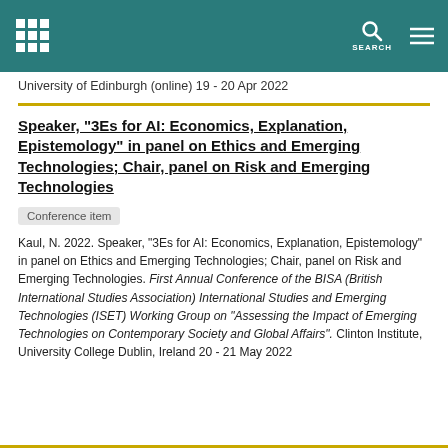University of Edinburgh (online) 19 - 20 Apr 2022
Speaker, "3Es for AI: Economics, Explanation, Epistemology" in panel on Ethics and Emerging Technologies; Chair, panel on Risk and Emerging Technologies
Conference item
Kaul, N. 2022. Speaker, "3Es for AI: Economics, Explanation, Epistemology" in panel on Ethics and Emerging Technologies; Chair, panel on Risk and Emerging Technologies. First Annual Conference of the BISA (British International Studies Association) International Studies and Emerging Technologies (ISET) Working Group on "Assessing the Impact of Emerging Technologies on Contemporary Society and Global Affairs". Clinton Institute, University College Dublin, Ireland 20 - 21 May 2022